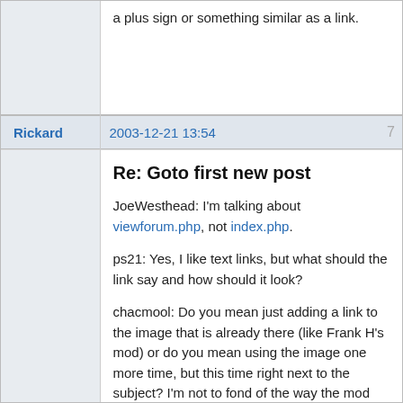a plus sign or something similar as a link.
Rickard
2003-12-21 13:54
7
Re: Goto first new post
JoeWesthead: I'm talking about viewforum.php, not index.php.
ps21: Yes, I like text links, but what should the link say and how should it look?
chacmool: Do you mean just adding a link to the image that is already there (like Frank H's mod) or do you mean using the image one more time, but this time right next to the subject? I'm not to fond of the way the mod works. Clicking that image isn't something that feels intuitive. It doesn't appear to be clickable.
"Programming is like sex: one mistake and you have